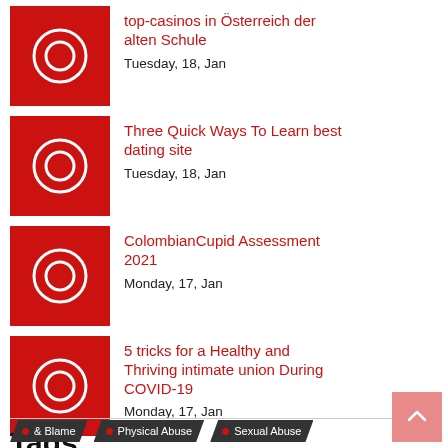top-casinos in Österreich der alten Schule
Tuesday, 18, Jan
Three Quick Ways To Learn best dating site
Tuesday, 18, Jan
ColombianCupid Assessment 2021
Monday, 17, Jan
5 tricks for a Healthy and Thriving intimate union During COVID-19
Monday, 17, Jan
Tags.
& Blame  Physical Abuse  Sexual Abuse